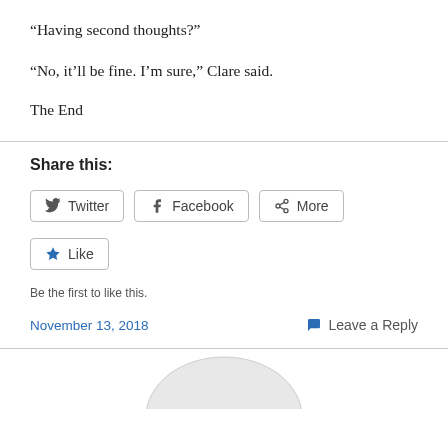“Having second thoughts?”
“No, it’ll be fine. I’m sure,” Clare said.
The End
Share this:
[Figure (other): Social share buttons: Twitter, Facebook, More]
[Figure (other): Like button with star icon]
Be the first to like this.
November 13, 2018
Leave a Reply
[Figure (photo): Partial image of a white object at the bottom of the page]